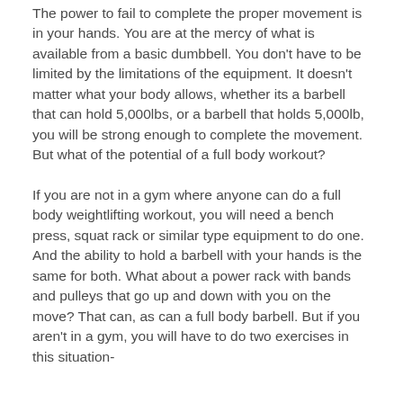The power to fail to complete the proper movement is in your hands. You are at the mercy of what is available from a basic dumbbell. You don't have to be limited by the limitations of the equipment. It doesn't matter what your body allows, whether its a barbell that can hold 5,000lbs, or a barbell that holds 5,000lb, you will be strong enough to complete the movement. But what of the potential of a full body workout?
If you are not in a gym where anyone can do a full body weightlifting workout, you will need a bench press, squat rack or similar type equipment to do one. And the ability to hold a barbell with your hands is the same for both. What about a power rack with bands and pulleys that go up and down with you on the move? That can, as can a full body barbell. But if you aren't in a gym, you will have to do two exercises in this situation-